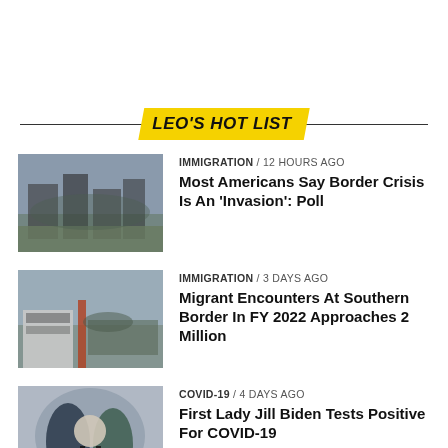LEO'S HOT LIST
IMMIGRATION / 12 hours ago — Most Americans Say Border Crisis Is An 'Invasion': Poll
IMMIGRATION / 3 days ago — Migrant Encounters At Southern Border In FY 2022 Approaches 2 Million
COVID-19 / 4 days ago — First Lady Jill Biden Tests Positive For COVID-19